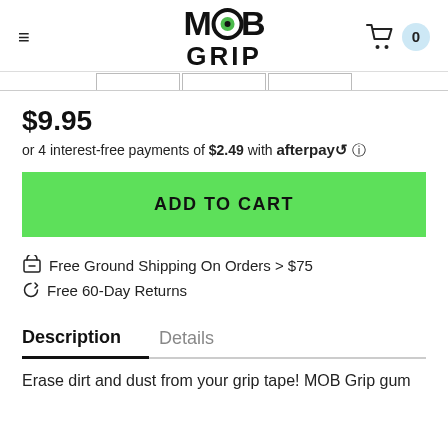MOB GRIP
$9.95
or 4 interest-free payments of $2.49 with afterpay ℹ
ADD TO CART
Free Ground Shipping On Orders > $75
Free 60-Day Returns
Description
Details
Erase dirt and dust from your grip tape! MOB Grip gum